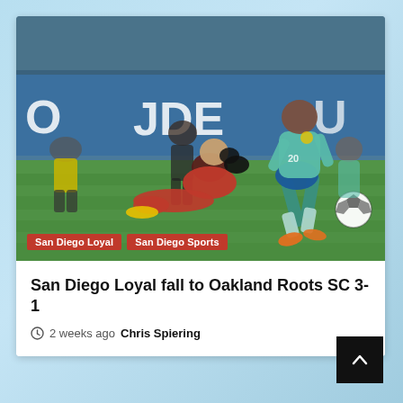[Figure (photo): Soccer match action photo showing a player in teal/green kit leaping over a sliding goalkeeper in red kit, with other players visible in background, advertisement hoardings behind]
San Diego Loyal | San Diego Sports
San Diego Loyal fall to Oakland Roots SC 3-1
2 weeks ago  Chris Spiering